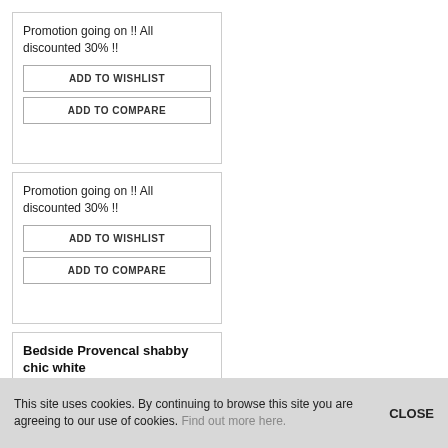Promotion going on !! All discounted 30% !!
ADD TO WISHLIST
ADD TO COMPARE
Promotion going on !! All discounted 30% !!
ADD TO WISHLIST
ADD TO COMPARE
Bedside Provencal shabby chic white
[Figure (photo): White ornate shabby chic bedside table with single drawer and carved cabriole legs]
White Pine Bedside With Drawer
[Figure (photo): White pine bedside table with wooden top and single panel drawer]
This site uses cookies. By continuing to browse this site you are agreeing to our use of cookies. Find out more here.
CLOSE